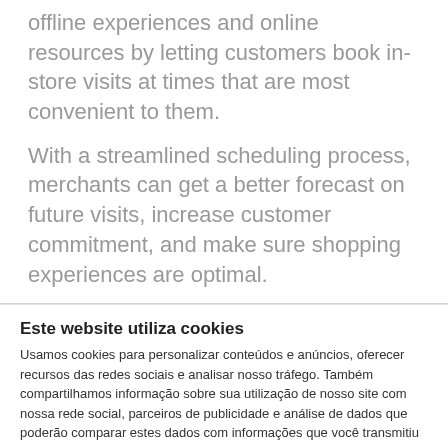offline experiences and online resources by letting customers book in-store visits at times that are most convenient to them.
With a streamlined scheduling process, merchants can get a better forecast on future visits, increase customer commitment, and make sure shopping experiences are optimal.
Este website utiliza cookies
Usamos cookies para personalizar conteúdos e anúncios, oferecer recursos das redes sociais e analisar nosso tráfego. Também compartilhamos informação sobre sua utilização de nosso site com nossa rede social, parceiros de publicidade e análise de dados que poderão comparar estes dados com informações que você transmitiu a eles ou que coletaram do seu uso de outros serviços. Você estará confirmando seu consentimento aos nossos cookies quando continua a utilizar nosso website.
OK
Necessários  Preferências  Mostrar